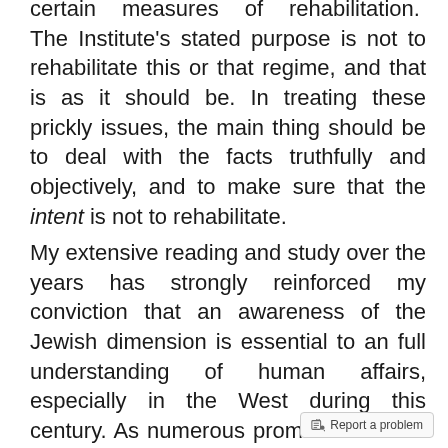certain measures of rehabilitation. The Institute's stated purpose is not to rehabilitate this or that regime, and that is as it should be. In treating these prickly issues, the main thing should be to deal with the facts truthfully and objectively, and to make sure that the intent is not to rehabilitate.
My extensive reading and study over the years has strongly reinforced my conviction that an awareness of the Jewish dimension is essential to an full understanding of human affairs, especially in the West during this century. As numerous prominent Jewish figures have affirmed, the Jewish element is a key factor in many of the problems we experience today.